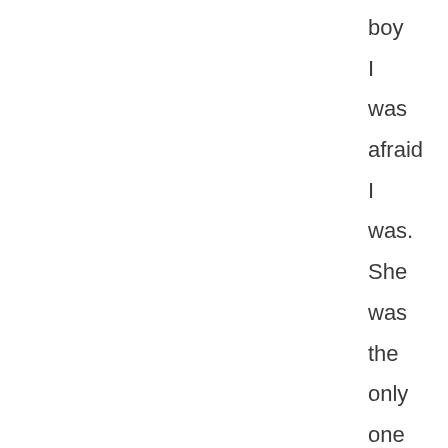boy I was afraid I was. She was the only one who would call me on my shit, and it scared me